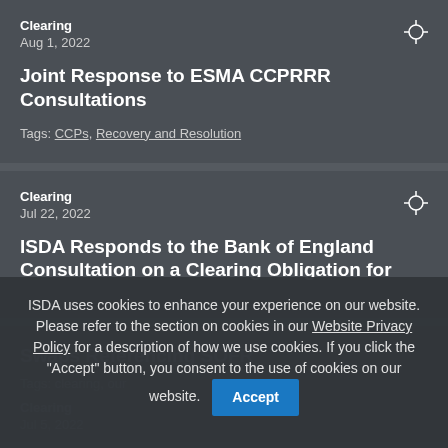Clearing
Aug 1, 2022
Joint Response to ESMA CCPRRR Consultations
Tags: CCPs, Recovery and Resolution
Clearing
Jul 22, 2022
ISDA Responds to the Bank of England Consultation on a Clearing Obligation for Swaps Referencing SOFR
ISDA uses cookies to enhance your experience on our website. Please refer to the section on cookies in our Website Privacy Policy for a description of how we use cookies. If you click the "Accept" button, you consent to the use of cookies on our website.
Clearing